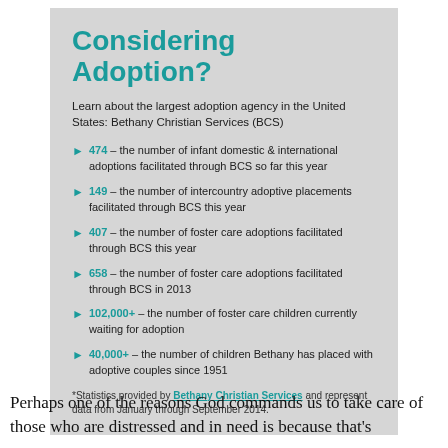Considering Adoption?
Learn about the largest adoption agency in the United States: Bethany Christian Services (BCS)
474 – the number of infant domestic & international adoptions facilitated through BCS so far this year
149 – the number of intercountry adoptive placements facilitated through BCS this year
407 – the number of foster care adoptions facilitated through BCS this year
658 – the number of foster care adoptions facilitated through BCS in 2013
102,000+ – the number of foster care children currently waiting for adoption
40,000+ – the number of children Bethany has placed with adoptive couples since 1951
*Statistics provided by Bethany Christian Services and represent data from January through September 2014.
Perhaps one of the reasons God commands us to take care of those who are distressed and in need is because that's